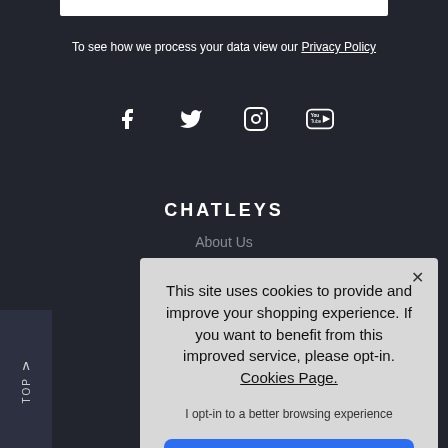To see how we process your data view our Privacy Policy
[Figure (infographic): Social media icons: Facebook, Twitter, Instagram, YouTube]
CHATLEYS
About Us
This site uses cookies to provide and improve your shopping experience. If you want to benefit from this improved service, please opt-in. Cookies Page.
I opt-in to a better browsing experience
ACCEPT COOKIES